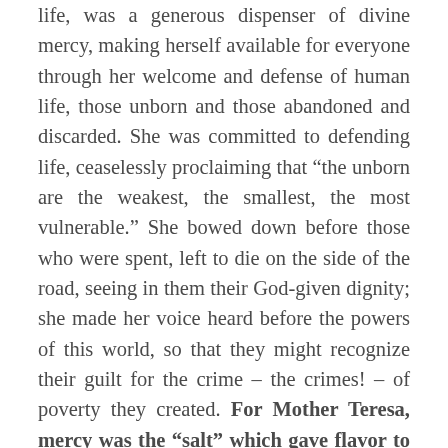life, was a generous dispenser of divine mercy, making herself available for everyone through her welcome and defense of human life, those unborn and those abandoned and discarded. She was committed to defending life, ceaselessly proclaiming that “the unborn are the weakest, the smallest, the most vulnerable.” She bowed down before those who were spent, left to die on the side of the road, seeing in them their God-given dignity; she made her voice heard before the powers of this world, so that they might recognize their guilt for the crime – the crimes! – of poverty they created. For Mother Teresa, mercy was the “salt” which gave flavor to her work, it was the “light” which shone in